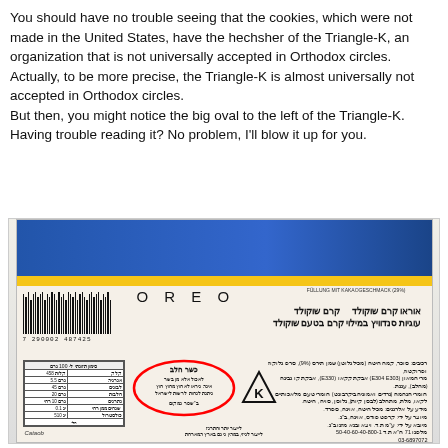You should have no trouble seeing that the cookies, which were not made in the United States, have the hechsher of the Triangle-K, an organization that is not universally accepted in Orthodox circles. Actually, to be more precise, the Triangle-K is almost universally not accepted in Orthodox circles.
But then, you might notice the big oval to the left of the Triangle-K. Having trouble reading it? No problem, I'll blow it up for you.
[Figure (photo): Photo of an Oreo cookie box label showing Hebrew text, a barcode (7290002487425), the OREO brand name, a kosher oval certification stamp circled in red, and a Triangle-K symbol. The label includes nutrition information table in Hebrew and various other Hebrew text about ingredients and contact information.]